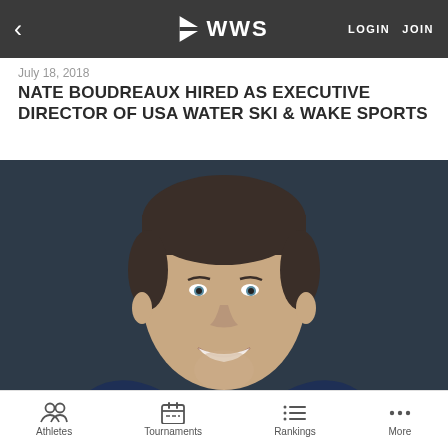< WWS  LOGIN  JOIN
July 18, 2018
NATE BOUDREAUX HIRED AS EXECUTIVE DIRECTOR OF USA WATER SKI & WAKE SPORTS
[Figure (photo): Professional headshot of Nate Boudreaux, a man in a navy blue suit with a blue striped tie, smiling against a dark background]
Athletes   Tournaments   Rankings   More